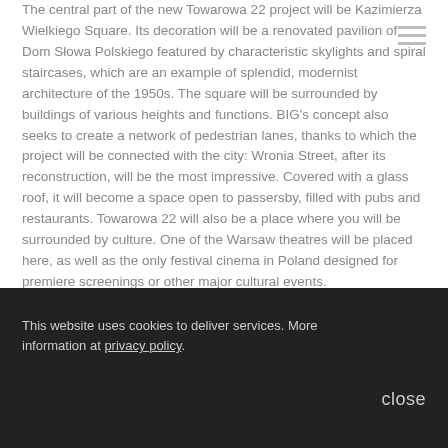The central part of the new Towarowa 22 project will be Kazimierza Wielkiego Square. Its decoration will be a renovated pavilion of Dom Słowa Polskiego featured by characteristic skylights and spiral staircases, which are an example of splendid, modernist architecture of the 1950s. The square will be surrounded by buildings of various heights and functions. BIG's concept also seeks to create a network of pedestrian lanes, thanks to which the project will be connected with the city: Wronia Street, after its reconstruction, will be the most impressive. Covered with a glass roof, it will become a space open to passersby, filled with pubs and restaurants. Towarowa 22 will also be a place where you will be surrounded by culture. One of the Warsaw theatres will be placed here, as well as the only festival cinema in Poland designed for premiere screenings or other major cultural events.
This website uses cookies to deliver services. More information at privacy policy. close